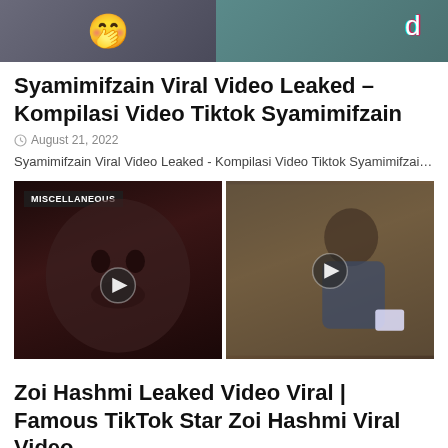[Figure (photo): Top thumbnail image showing two people with emoji and TikTok logo]
Syamimifzain Viral Video Leaked - Kompilasi Video Tiktok Syamimifzain
August 21, 2022
Syamimifzain Viral Video Leaked - Kompilasi Video Tiktok Syamimifzai…
[Figure (photo): Two side-by-side video thumbnails with play buttons. Left thumbnail shows MISCELLANEOUS badge, right thumbnail shows a person with a phone.]
Zoi Hashmi Leaked Video Viral | Famous TikTok Star Zoi Hashmi Viral Video
August 20, 2022
Watch and Share this Video with Other Friends Zoi Hashmi Leaked Video